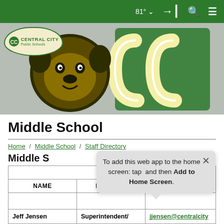81° ☁ [login] [search] [menu]
[Figure (logo): Central City Public Schools banner with mascot (bulldog/wildcat) and CC letters in green and gold on gray background]
Middle School
Home / Middle School / Staff Directory
Middle School Staff Directory
| NAME | POSITION | E-MAIL AD |
| --- | --- | --- |
| Jeff Jensen | Superintendent/ | jjensen@centralcity |
To add this web app to the home screen: tap and then Add to Home Screen.